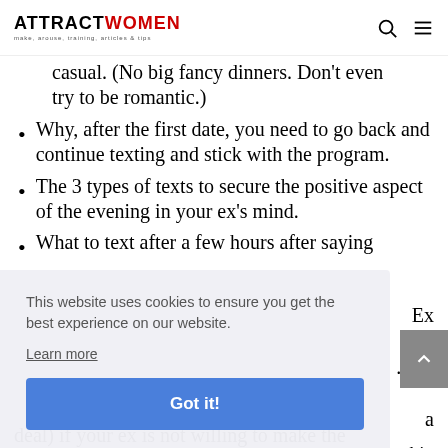ATTRACTWOMEN make, arouse, training, articles & tips
casual. (No big fancy dinners. Don't even try to be romantic.)
Why, after the first date, you need to go back and continue texting and stick with the program.
The 3 types of texts to secure the positive aspect of the evening in your ex's mind.
What to text after a few hours after saying
Ex ust can a big deal) if your ex is not willing to make the
This website uses cookies to ensure you get the best experience on our website. Learn more Got it!